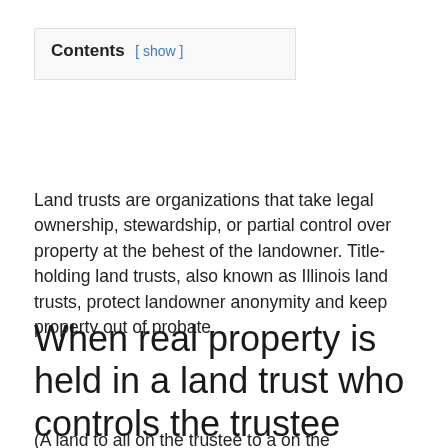| Contents |
| --- |
| [ show ] |
Land trusts are organizations that take legal ownership, stewardship, or partial control over property at the behest of the landowner. Title-holding land trusts, also known as Illinois land trusts, protect landowner anonymity and keep property out of probate.
When real property is held in a land trust who controls the trustee quizlet?
(A land to all on the trustee to a on the